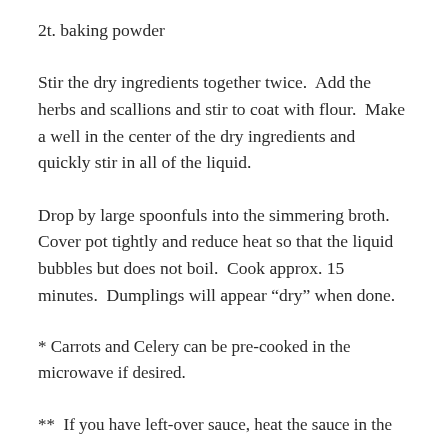2t. baking powder
Stir the dry ingredients together twice.  Add the herbs and scallions and stir to coat with flour.  Make a well in the center of the dry ingredients and quickly stir in all of the liquid.
Drop by large spoonfuls into the simmering broth.  Cover pot tightly and reduce heat so that the liquid bubbles but does not boil.  Cook approx. 15 minutes.  Dumplings will appear “dry” when done.
* Carrots and Celery can be pre-cooked in the microwave if desired.
**  If you have left-over sauce, heat the sauce in the